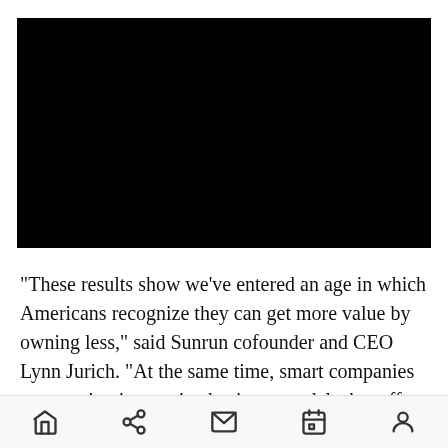[Figure (photo): Black rectangle representing a video or image placeholder]
“These results show we’ve entered an age in which Americans recognize they can get more value by owning less,” said Sunrun cofounder and CEO Lynn Jurich. “At the same time, smart companies are creating innovative business models that offer consumers more flexible choices for accessing the
Home | Share | Mail | Calendar | Profile